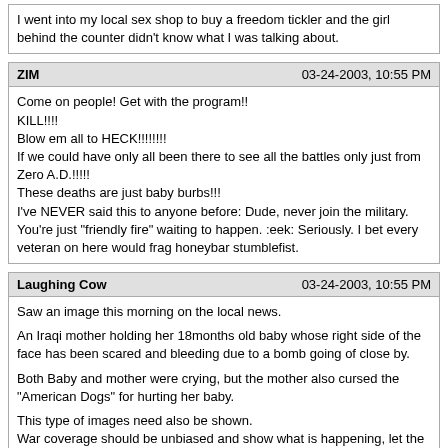I went into my local sex shop to buy a freedom tickler and the girl behind the counter didn't know what I was talking about.
ZIM | 03-24-2003, 10:55 PM
Come on people! Get with the program!!
KILL!!!!
Blow em all to HECK!!!!!!!!
If we could have only all been there to see all the battles only just from Zero A.D.!!!!!
These deaths are just baby burbs!!!
I've NEVER said this to anyone before: Dude, never join the military. You're just "friendly fire" waiting to happen. :eek: Seriously. I bet every veteran on here would frag honeybar stumblefist.
Laughing Cow | 03-24-2003, 10:55 PM
Saw an image this morning on the local news.

An Iraqi mother holding her 18months old baby whose right side of the face has been scared and bleeding due to a bomb going of close by.

Both Baby and mother were crying, but the mother also cursed the "American Dogs" for hurting her baby.

This type of images need also be shown.
War coverage should be unbiased and show what is happening, let the pictures and sounds speak for themselves.
Serpent | 03-24-2003, 10:55 PM
That's cos you usually buy the 12" Mambo Super Rectum Agitator as you tend to wear them out so quick.